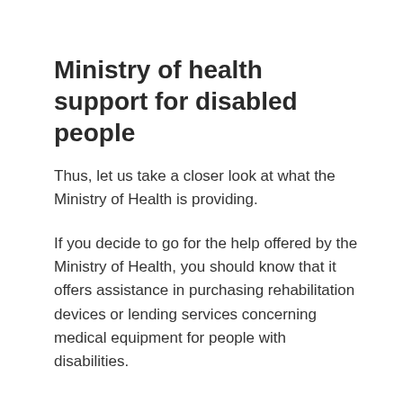Ministry of health support for disabled people
Thus, let us take a closer look at what the Ministry of Health is providing.
If you decide to go for the help offered by the Ministry of Health, you should know that it offers assistance in purchasing rehabilitation devices or lending services concerning medical equipment for people with disabilities.